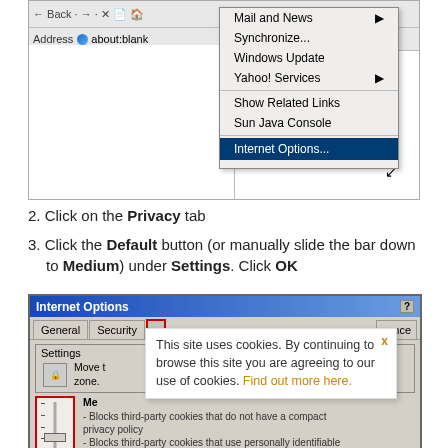[Figure (screenshot): Internet Explorer browser window showing a dropdown Tools menu with 'Internet Options...' highlighted in blue, and menu items: Mail and News, Synchronize..., Windows Update, Yahoo! Services, Show Related Links, Sun Java Console, Internet Options...]
2. Click on the Privacy tab
3. Click the Default button (or manually slide the bar down to Medium) under Settings. Click OK
[Figure (screenshot): Internet Options dialog box showing General, Security, Privacy (highlighted with red border), and Advanced tabs, with Settings section containing a privacy icon and a slider set to Medium with red border around it, and a cookie consent overlay on top]